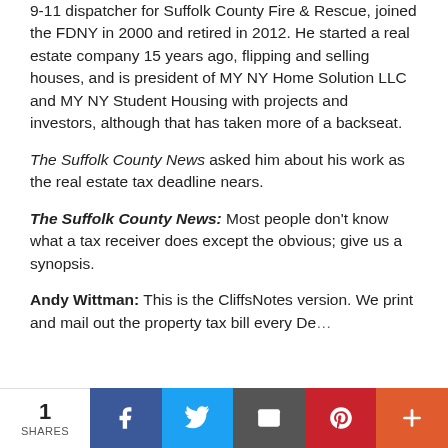9-11 dispatcher for Suffolk County Fire & Rescue, joined the FDNY in 2000 and retired in 2012. He started a real estate company 15 years ago, flipping and selling houses, and is president of MY NY Home Solution LLC and MY NY Student Housing with projects and investors, although that has taken more of a backseat.
The Suffolk County News asked him about his work as the real estate tax deadline nears.
The Suffolk County News: Most people don't know what a tax receiver does except the obvious; give us a synopsis.
Andy Wittman: This is the CliffsNotes version. We print and mail out the property tax bill every De...
1 SHARES | Facebook | Twitter | Email | Pinterest | Plus